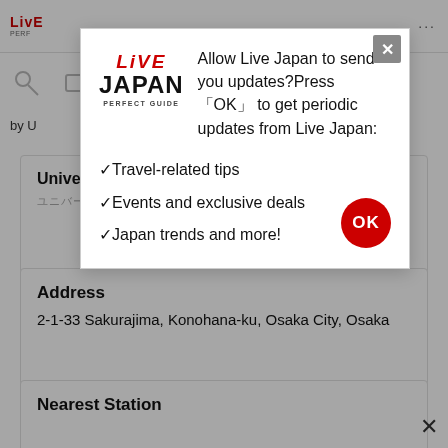LIVE JAPAN PERFECT GUIDE
[Figure (screenshot): Live Japan Perfect Guide website background with navigation icons and 'by U' text partial]
Universal Studios Japan
ユニバーサル・スタジオ・ジャパン
Address
2-1-33 Sakurajima, Konohana-ku, Osaka City, Osaka
Nearest Station
[Figure (screenshot): Modal dialog box from Live Japan website asking to allow push notifications. Contains Live Japan logo, message 'Allow Live Japan to send you updates? Press OK to get periodic updates from Live Japan:', followed by bullet items: Travel-related tips, Events and exclusive deals, Japan trends and more! with an OK button.]
Allow Live Japan to send you updates?Press 「OK」 to get periodic updates from Live Japan:
•Travel-related tips
•Events and exclusive deals
•Japan trends and more!